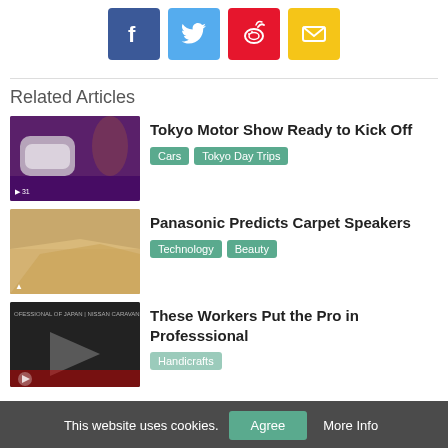[Figure (other): Social sharing buttons: Facebook (blue), Twitter (light blue), Weibo (red), Email (yellow)]
Related Articles
[Figure (photo): Tokyo Motor Show event photo showing a futuristic bus and performers on stage with purple lighting]
Tokyo Motor Show Ready to Kick Off
Cars
Tokyo Day Trips
[Figure (photo): Photo showing a carpet being peeled back from a wooden floor]
Panasonic Predicts Carpet Speakers
Technology
Beauty
[Figure (screenshot): Thumbnail showing OFESSIONAL OF JAPAN | NISSAN CARAVAN video]
These Workers Put the Pro in Professsional
Handicrafts
This website uses cookies.